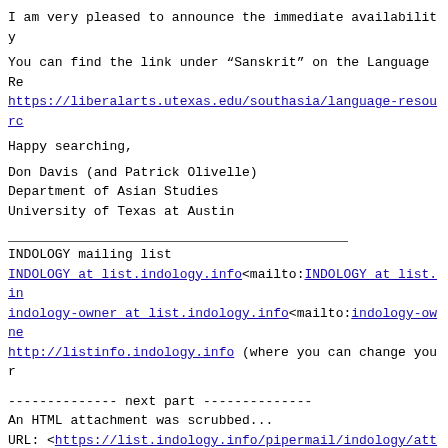I am very pleased to announce the immediate availability
You can find the link under “Sanskrit” on the Language Re
https://liberalarts.utexas.edu/southasia/language-resourc
Happy searching,
Don Davis (and Patrick Olivelle)
Department of Asian Studies
University of Texas at Austin
INDOLOGY mailing list
INDOLOGY at list.indology.info<mailto:INDOLOGY at list.in
indology-owner at list.indology.info<mailto:indology-owne
http://listinfo.indology.info (where you can change your
-------------- next part --------------
An HTML attachment was scrubbed...
URL: <https://list.indology.info/pipermail/indology/attac
Previous message (by thread): [INDOLOGY] Digital Edition of the Mitākṣarā of Vijñāneśvara
Next message (by thread): Re: [INDOLOGY] Digital